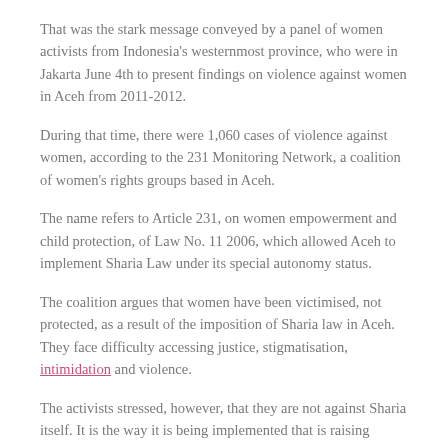That was the stark message conveyed by a panel of women activists from Indonesia's westernmost province, who were in Jakarta June 4th to present findings on violence against women in Aceh from 2011-2012.
During that time, there were 1,060 cases of violence against women, according to the 231 Monitoring Network, a coalition of women's rights groups based in Aceh.
The name refers to Article 231, on women empowerment and child protection, of Law No. 11 2006, which allowed Aceh to implement Sharia Law under its special autonomy status.
The coalition argues that women have been victimised, not protected, as a result of the imposition of Sharia law in Aceh. They face difficulty accessing justice, stigmatisation, intimidation and violence.
The activists stressed, however, that they are not against Sharia itself. It is the way it is being implemented that is raising questions.
“The implementation of Sharia Law should be able to restore proper justice and improve social welfare to its citizens, which we did not get during the conflict,” Samsidar, an activist from the Aceh Women’s Legal Aid Foundation (LBH Apik Aceh), told Khabar Southeast Asia.